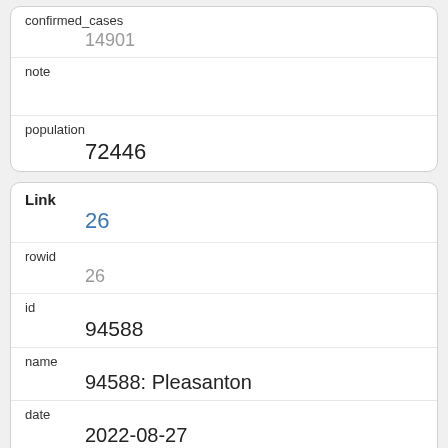| field | value |
| --- | --- |
| confirmed_cases | 14901 |
| note |  |
| population | 72446 |
| field | value |
| --- | --- |
| Link | 26 |
| rowid | 26 |
| id | 94588 |
| name | 94588: Pleasanton |
| date | 2022-08-27 |
| county | Alameda |
| fips |  |